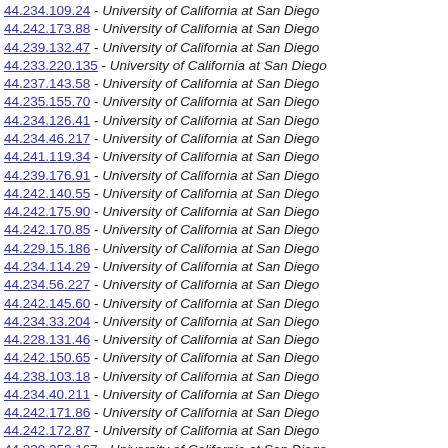44.234.109.24 - University of California at San Diego
44.242.173.88 - University of California at San Diego
44.239.132.47 - University of California at San Diego
44.233.220.135 - University of California at San Diego
44.237.143.58 - University of California at San Diego
44.235.155.70 - University of California at San Diego
44.234.126.41 - University of California at San Diego
44.234.46.217 - University of California at San Diego
44.241.119.34 - University of California at San Diego
44.239.176.91 - University of California at San Diego
44.242.140.55 - University of California at San Diego
44.242.175.90 - University of California at San Diego
44.242.170.85 - University of California at San Diego
44.229.15.186 - University of California at San Diego
44.234.114.29 - University of California at San Diego
44.234.56.227 - University of California at San Diego
44.242.145.60 - University of California at San Diego
44.234.33.204 - University of California at San Diego
44.228.131.46 - University of California at San Diego
44.242.150.65 - University of California at San Diego
44.238.103.18 - University of California at San Diego
44.234.40.211 - University of California at San Diego
44.242.171.86 - University of California at San Diego
44.242.172.87 - University of California at San Diego
44.239.252.167 - University of California at San Diego
44.234.158.73 - University of California at San Diego
44.231.77.248 - University of California at San Diego
44.236.18.189 - University of California at San Diego
44.240.117.32 - University of California at San Diego
44.238.231.146 - University of California at San Diego